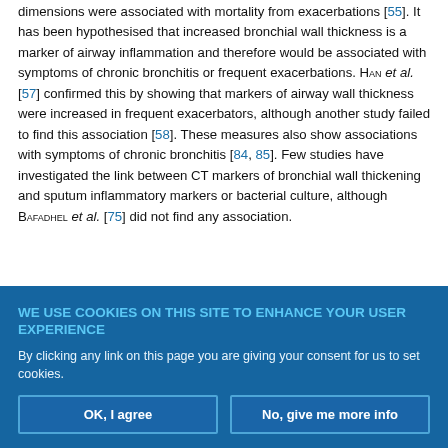dimensions were associated with mortality from exacerbations [55]. It has been hypothesised that increased bronchial wall thickness is a marker of airway inflammation and therefore would be associated with symptoms of chronic bronchitis or frequent exacerbations. Han et al. [57] confirmed this by showing that markers of airway wall thickness were increased in frequent exacerbators, although another study failed to find this association [58]. These measures also show associations with symptoms of chronic bronchitis [84, 85]. Few studies have investigated the link between CT markers of bronchial wall thickening and sputum inflammatory markers or bacterial culture, although Bafadhel et al. [75] did not find any association.
WE USE COOKIES ON THIS SITE TO ENHANCE YOUR USER EXPERIENCE
By clicking any link on this page you are giving your consent for us to set cookies.